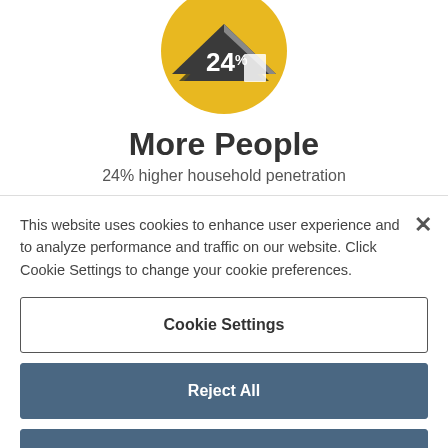[Figure (illustration): Yellow circle with a dark house icon showing '24%' text inside, representing household penetration statistic]
More People
24% higher household penetration
This website uses cookies to enhance user experience and to analyze performance and traffic on our website. Click Cookie Settings to change your cookie preferences.
Cookie Settings
Reject All
Accept All Cookies